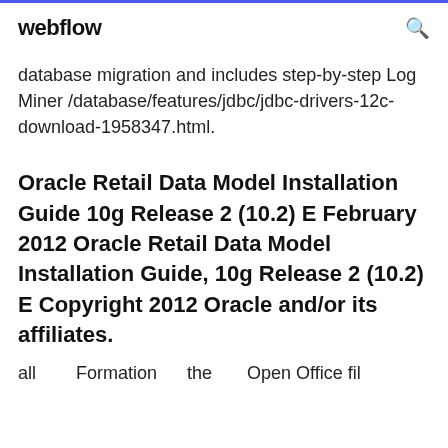webflow
database migration and includes step-by-step Log Miner /database/features/jdbc/jdbc-drivers-12c-download-1958347.html.
Oracle Retail Data Model Installation Guide 10g Release 2 (10.2) E February 2012 Oracle Retail Data Model Installation Guide, 10g Release 2 (10.2) E Copyright 2012 Oracle and/or its affiliates.
all and the Formation of the Open Office file